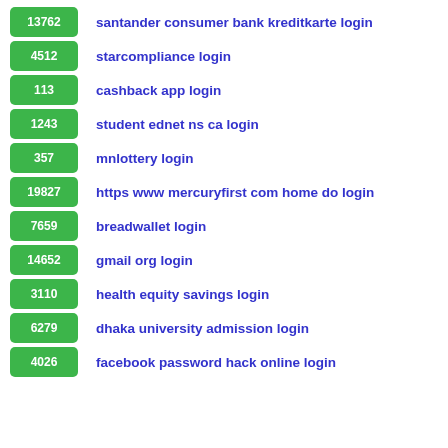13762 santander consumer bank kreditkarte login
4512 starcompliance login
113 cashback app login
1243 student ednet ns ca login
357 mnlottery login
19827 https www mercuryfirst com home do login
7659 breadwallet login
14652 gmail org login
3110 health equity savings login
6279 dhaka university admission login
4026 facebook password hack online login